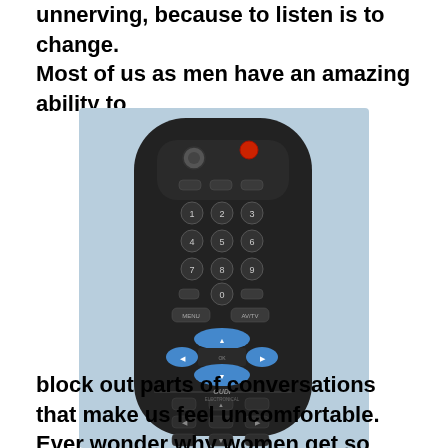unnerving, because to listen is to change. Most of us as men have an amazing ability to
[Figure (photo): Photo of a black OUDI ELECTRONICAL Universal TV Remote Control (OD-01EC) with numeric keypad, navigation buttons, and blue highlighted directional keys, against a light blue background.]
block out parts of conversations that make us feel uncomfortable. Ever wonder why women get so